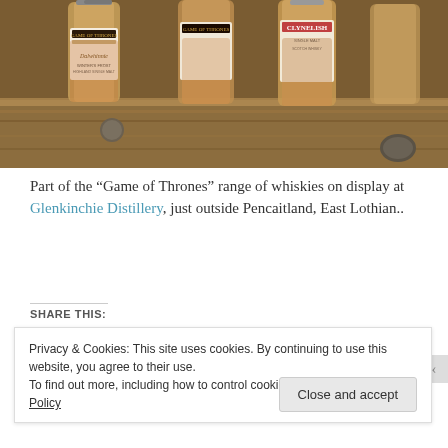[Figure (photo): Bottles of Game of Thrones range of whiskies including Dalwhinnie and Clynelish on a wooden shelf with coins]
Part of the “Game of Thrones” range of whiskies on display at Glenkinchie Distillery, just outside Pencaitland, East Lothian..
SHARE THIS:
Privacy & Cookies: This site uses cookies. By continuing to use this website, you agree to their use.
To find out more, including how to control cookies, see here: Cookie Policy
Close and accept